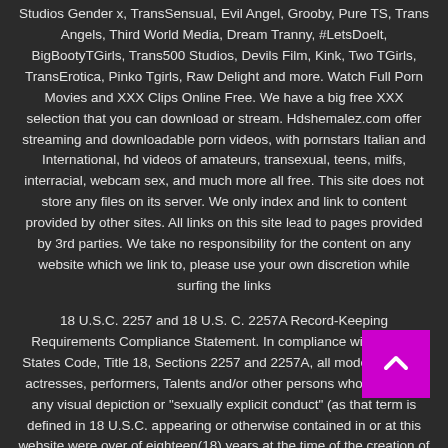Studios Gender x, TransSensual, Evil Angel, Grooby, Pure TS, Trans Angels, Third World Media, Dream Tranny, #LetsDoelt, BigBootyTGirls, Trans500 Studios, Devils Film, Kink, Two TGirls, TransErotica, Pinko Tgirls, Raw Delight and more. Watch Full Porn Movies and XXX Clips Online Free. We have a big free XXX selection that you can download or stream. Hdshemalez.com offer streaming and downloadable porn videos, with pornstars Italian and International, hd videos of amateurs, transexual, teens, milfs, interracial, webcam sex, and much more all free. This site does not store any files on its server. We only index and link to content provided by other sites. All links on this site lead to pages provided by 3rd parties. We take no responsibility for the content on any website which we link to, please use your own discretion while surfing the links
18 U.S.C. 2257 and 18 U.S. C. 2257A Record-Keeping Requirements Compliance Statement. In compliance with United States Code, Title 18, Sections 2257 and 2257A, all models, actors, actresses, performers, Talents and/or other persons who appear in any visual depiction or "sexually explicit conduct" (as that term is defined in 18 U.S.C. appearing or otherwise contained in or at this website were over of eighteen(18) years at the time of the creation of such depictions. This website is an ongoing work that is published on a daily basis.